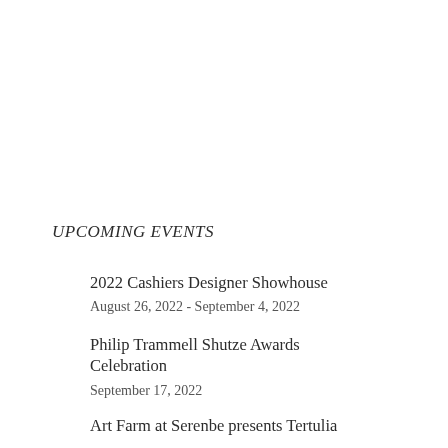UPCOMING EVENTS
2022 Cashiers Designer Showhouse
August 26, 2022 - September 4, 2022
Philip Trammell Shutze Awards Celebration
September 17, 2022
Art Farm at Serenbe presents Tertulia